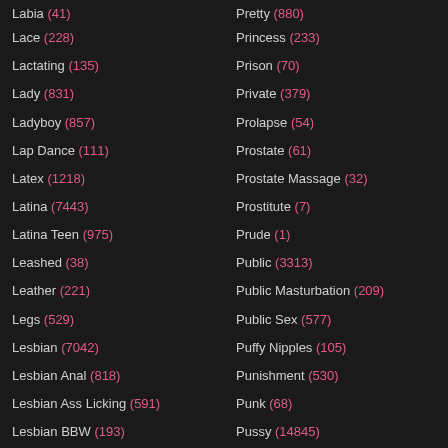Labia (41)
Lace (228)
Lactating (135)
Lady (831)
Ladyboy (857)
Lap Dance (111)
Latex (1218)
Latina (7443)
Latina Teen (975)
Leashed (38)
Leather (221)
Legs (529)
Lesbian (7042)
Lesbian Anal (818)
Lesbian Ass Licking (591)
Lesbian BBW (193)
Pretty (880)
Princess (233)
Prison (70)
Private (379)
Prolapse (54)
Prostate (61)
Prostate Massage (32)
Prostitute (7)
Prude (1)
Public (3313)
Public Masturbation (209)
Public Sex (577)
Puffy Nipples (105)
Punishment (530)
Punk (68)
Pussy (14845)